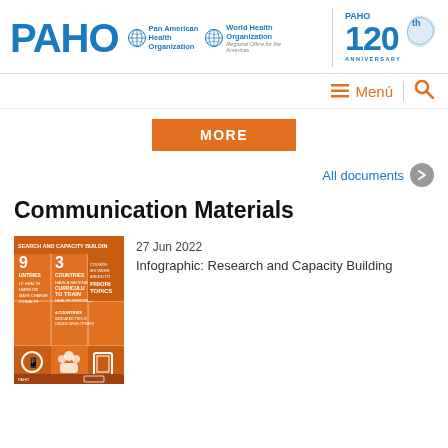[Figure (logo): PAHO / Pan American Health Organization / World Health Organization for the Americas logo with 120th anniversary badge]
[Figure (infographic): Navigation bar with hamburger menu icon, Menú text, and search icon in orange]
[Figure (other): Orange MORE button]
All documents →
Communication Materials
[Figure (infographic): Thumbnail of orange infographic titled SEARCH AND CAPACITY BUILDING showing statistics about countries]
27 Jun 2022
Infographic: Research and Capacity Building